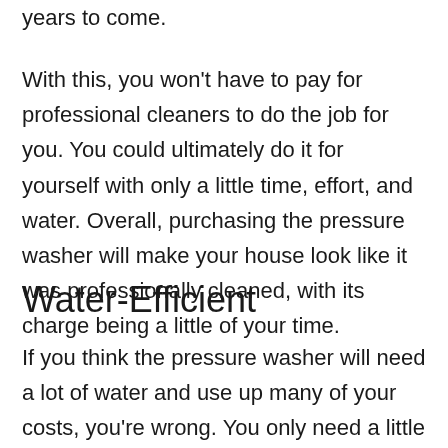years to come.
With this, you won't have to pay for professional cleaners to do the job for you. You could ultimately do it for yourself with only a little time, effort, and water. Overall, purchasing the pressure washer will make your house look like it was professionally cleaned, with its charge being a little of your time.
Water-Efficient
If you think the pressure washer will need a lot of water and use up many of your costs, you're wrong. You only need a little bit of water to supply and fill its contents, and you're good to go. Additionally, it would take up more